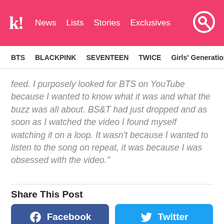Koreaboo – News | Lists | Stories | Exclusives
BTS | BLACKPINK | SEVENTEEN | TWICE | Girls' Generation
feed. I purposely looked for BTS on YouTube because I wanted to know what it was and what the buzz was all about. BS&T had just dropped and as soon as I watched the video I found myself watching it on a loop. It wasn't because I wanted to listen to the song on repeat, it was because I was obsessed with the video."
Share This Post